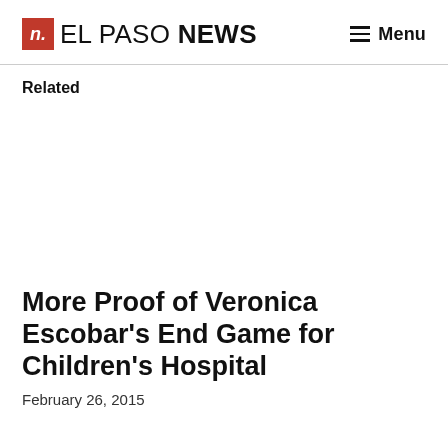n. EL PASO NEWS  ≡ Menu
Related
More Proof of Veronica Escobar's End Game for Children's Hospital
February 26, 2015